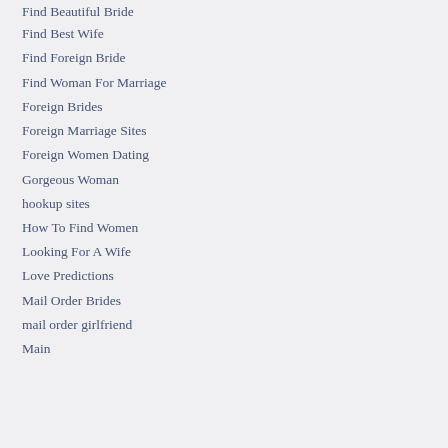Find Beautiful Bride
Find Best Wife
Find Foreign Bride
Find Woman For Marriage
Foreign Brides
Foreign Marriage Sites
Foreign Women Dating
Gorgeous Woman
hookup sites
How To Find Women
Looking For A Wife
Love Predictions
Mail Order Brides
mail order girlfriend
Main